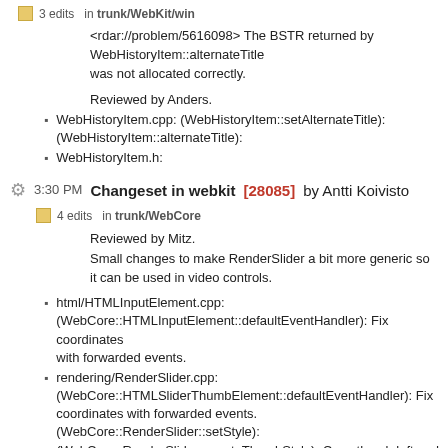3 edits  in  trunk/WebKit/win
<rdar://problem/5616098> The BSTR returned by WebHistoryItem::alternateTitle was not allocated correctly.
Reviewed by Anders.
WebHistoryItem.cpp: (WebHistoryItem::setAlternateTitle): (WebHistoryItem::alternateTitle):
WebHistoryItem.h:
3:30 PM Changeset in webkit [28085] by Antti Koivisto
4 edits  in  trunk/WebCore
Reviewed by Mitz.
Small changes to make RenderSlider a bit more generic so it can be used in video controls.
html/HTMLInputElement.cpp: (WebCore::HTMLInputElement::defaultEventHandler): Fix coordinates with forwarded events.
rendering/RenderSlider.cpp: (WebCore::HTMLSliderThumbElement::defaultEventHandler): Fix coordinates with forwarded events. (WebCore::RenderSlider::setStyle): (WebCore::RenderSlider::createThumbStyle): Copy thumb left and top from the orginal style so position does not reset. (WebCore::RenderSlider::mouseEventIsInThumb): Make this work with